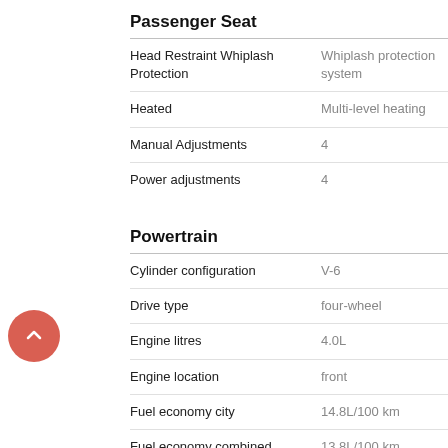Passenger Seat
| Feature | Value |
| --- | --- |
| Head Restraint Whiplash Protection | Whiplash protection system |
| Heated | Multi-level heating |
| Manual Adjustments | 4 |
| Power adjustments | 4 |
Powertrain
| Feature | Value |
| --- | --- |
| Cylinder configuration | V-6 |
| Drive type | four-wheel |
| Engine litres | 4.0L |
| Engine location | front |
| Fuel economy city | 14.8L/100 km |
| Fuel economy combined | 13.8L/100 km |
| Fuel economy fuel type | gasoline |
| Fuel economy highway | 12.5L/100 km |
| Fuel tank capacity | 87.0L |
| Horsepower | 270hp @ 5,600RPM |
| Hybrid traction battery type | none |